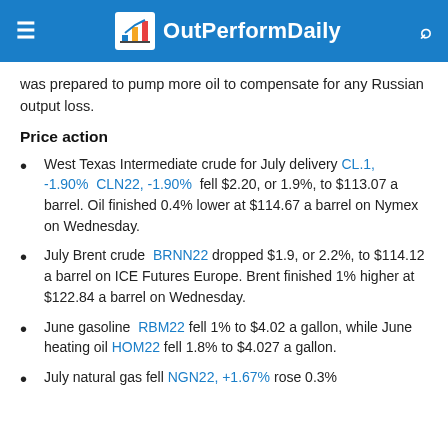OutPerformDaily
was prepared to pump more oil to compensate for any Russian output loss.
Price action
West Texas Intermediate crude for July delivery CL.1, -1.90%  CLN22, -1.90%  fell $2.20, or 1.9%, to $113.07 a barrel. Oil finished 0.4% lower at $114.67 a barrel on Nymex on Wednesday.
July Brent crude  BRNN22  dropped $1.9, or 2.2%, to $114.12 a barrel on ICE Futures Europe. Brent finished 1% higher at $122.84 a barrel on Wednesday.
June gasoline  RBM22  fell 1% to $4.02 a gallon, while June heating oil  HOM22  fell 1.8% to $4.027 a gallon.
July natural gas fell  NGN22, +1.67%  rose 0.3%